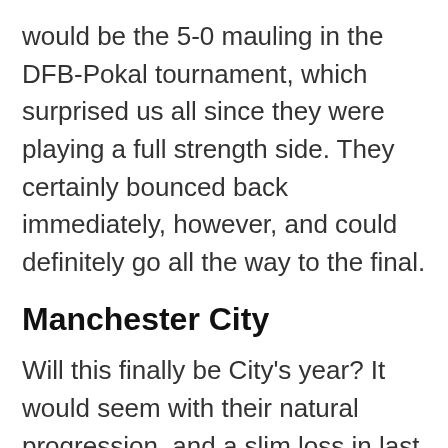would be the 5-0 mauling in the DFB-Pokal tournament, which surprised us all since they were playing a full strength side. They certainly bounced back immediately, however, and could definitely go all the way to the final.
Manchester City
Will this finally be City's year? It would seem with their natural progression, and a slim loss in last years final, that this would be the year Pep has to win the competition.
Generous investment has been spent in star